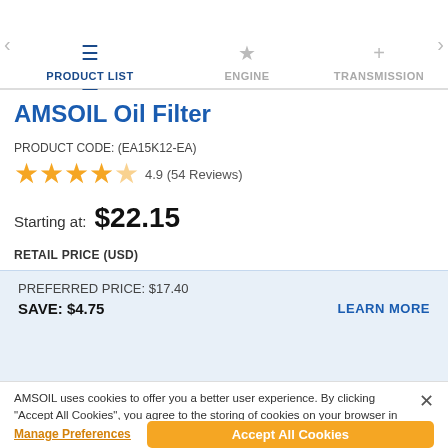PRODUCT LIST | ENGINE | TRANSMISSION
AMSOIL Oil Filter
PRODUCT CODE: (EA15K12-EA)
4.9 (54 Reviews)
Starting at: $22.15
RETAIL PRICE (USD)
PREFERRED PRICE: $17.40
SAVE: $4.75
LEARN MORE
AMSOIL uses cookies to offer you a better user experience. By clicking "Accept All Cookies", you agree to the storing of cookies on your browser in accordance with our Cookie Policy
Manage Preferences
Accept All Cookies